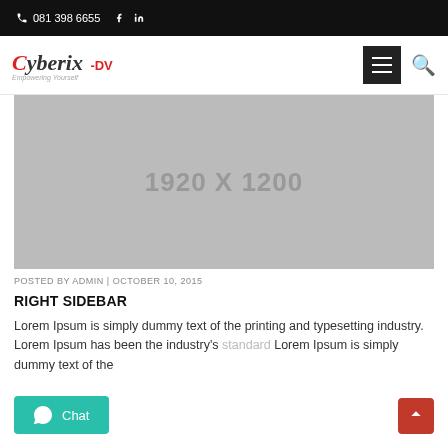081 398 6655
[Figure (logo): Cyberix DV logo with tagline]
[Figure (photo): Placeholder image 1920 X 1200]
POSTED BY ADMIN | OCTOBER 10, 2015
RIGHT SIDEBAR
Lorem Ipsum is simply dummy text of the printing and typesetting industry. Lorem Ipsum has been the industry's standard Lorem Ipsum is simply dummy text of the